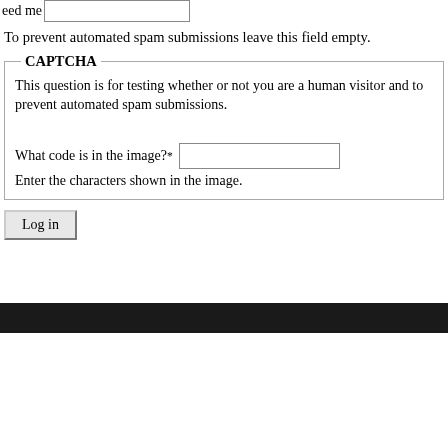To prevent automated spam submissions leave this field empty.
CAPTCHA
This question is for testing whether or not you are a human visitor and to prevent automated spam submissions.
What code is in the image? *
Enter the characters shown in the image.
Log in